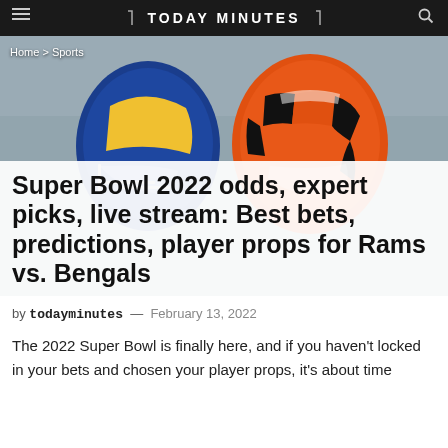TODAY MINUTES
[Figure (photo): Two NFL football helmets side by side — a Los Angeles Rams helmet (blue and yellow) on the left and a Cincinnati Bengals helmet (orange with black tiger stripes) on the right, photographed outdoors.]
Home > Sports
Super Bowl 2022 odds, expert picks, live stream: Best bets, predictions, player props for Rams vs. Bengals
by todayminutes — February 13, 2022
The 2022 Super Bowl is finally here, and if you haven't locked in your bets and chosen your player props, it's about time